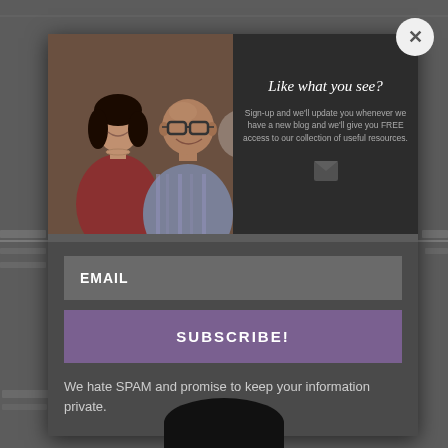[Figure (photo): Modal popup with a photo of two people (a woman and a bald man with glasses) on the left side, and dark panel on the right with italic text 'Like what you see?' and subscription call-to-action text]
Like what you see?
Sign-up and we'll update you whenever we have a new blog and we'll give you FREE access to our collection of useful resources.
EMAIL
SUBSCRIBE!
We hate SPAM and promise to keep your information private.